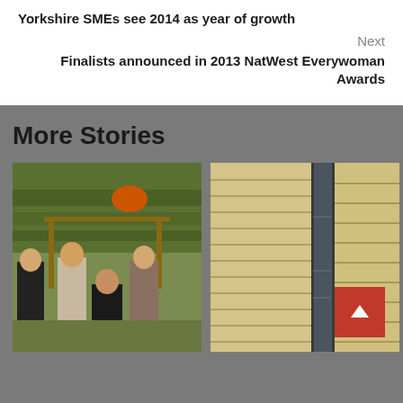Yorkshire SMEs see 2014 as year of growth
Next
Finalists announced in 2013 NatWest Everywoman Awards
More Stories
[Figure (photo): Group of four women posing outdoors in a garden setting with green hedges and wooden structure in background]
[Figure (photo): Close-up of a modern building exterior showing stone/limestone cladding and large glass window panels]